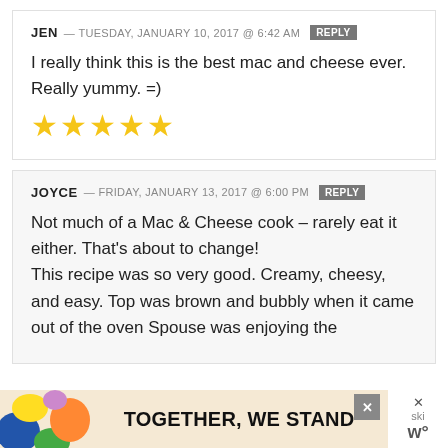JEN — TUESDAY, JANUARY 10, 2017 @ 6:42 AM REPLY
I really think this is the best mac and cheese ever. Really yummy. =)
[Figure (other): 5 yellow star rating icons]
JOYCE — FRIDAY, JANUARY 13, 2017 @ 6:00 PM REPLY
Not much of a Mac & Cheese cook – rarely eat it either. That's about to change! This recipe was so very good. Creamy, cheesy, and easy. Top was brown and bubbly when it came out of the oven Spouse was enjoying the
[Figure (other): Advertisement banner reading TOGETHER, WE STAND with colorful artwork on left and close/branding buttons on right]